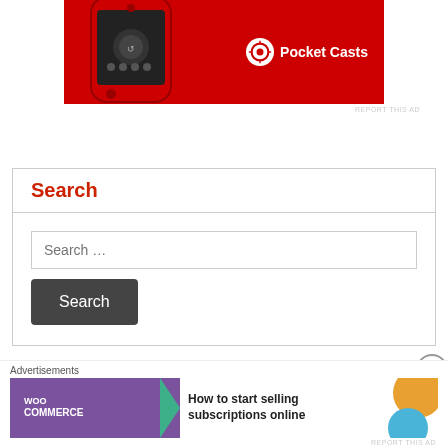[Figure (photo): Pocket Casts app advertisement banner showing a red Apple Watch with the Pocket Casts logo and wordmark on a red background]
REPORT THIS AD
Search
Search …
Search
Follow us on Facebook
Advertisements
[Figure (photo): WooCommerce advertisement banner with purple background, teal arrow shape, and text 'How to start selling subscriptions online' with orange and blue decorative elements]